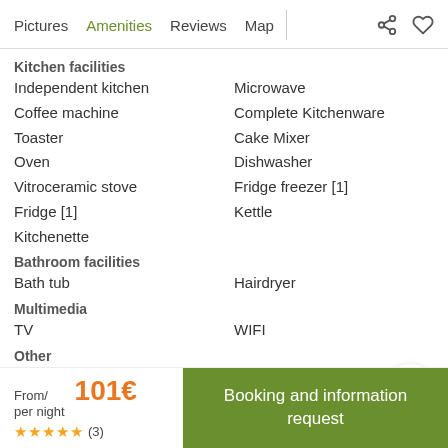Pictures  Amenities  Reviews  Map
Kitchen facilities
Independent kitchen
Microwave
Coffee machine
Complete Kitchenware
Toaster
Cake Mixer
Oven
Dishwasher
Vitroceramic stove
Fridge freezer [1]
Fridge [1]
Kettle
Kitchenette
Bathroom facilities
Bath tub
Hairdryer
Multimedia
TV
WIFI
Other
Ironing board
Iron
From/ per night  101€
★★★★★ (3)
Booking and information request